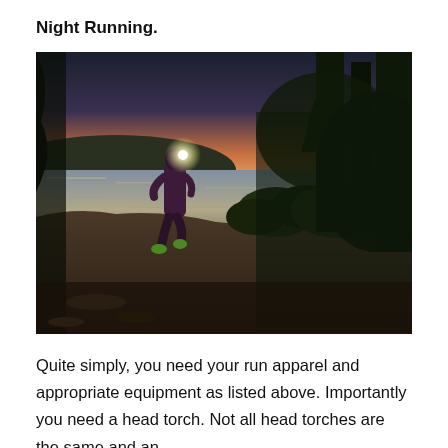Night Running.
[Figure (photo): A runner with a head torch on running along the shoreline of a lake at dusk or dawn, silhouetted against a twilight sky with trees in the background and calm reflective water]
Quite simply, you need your run apparel and appropriate equipment as listed above. Importantly you need a head torch. Not all head torches are the same and an